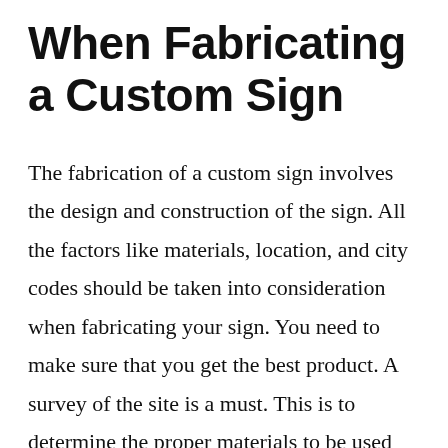When Fabricating a Custom Sign
The fabrication of a custom sign involves the design and construction of the sign. All the factors like materials, location, and city codes should be taken into consideration when fabricating your sign. You need to make sure that you get the best product. A survey of the site is a must. This is to determine the proper materials to be used and the methods to install